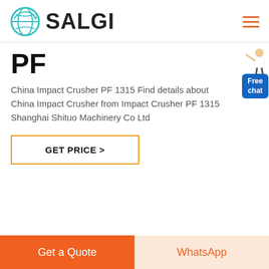[Figure (logo): SALGI company logo with teal circular globe icon and bold black SALGI text]
PF
China Impact Crusher PF 1315 Find details about China Impact Crusher from Impact Crusher PF 1315 Shanghai Shituo Machinery Co Ltd
GET PRICE >
Get a Quote
WhatsApp